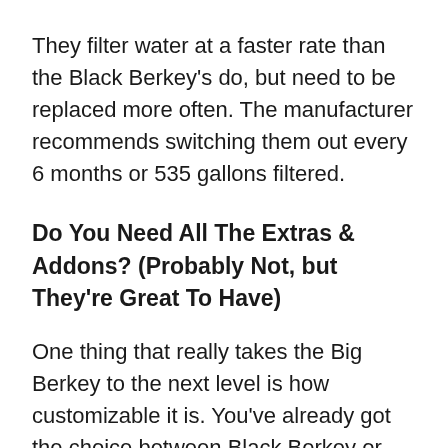They filter water at a faster rate than the Black Berkey's do, but need to be replaced more often. The manufacturer recommends switching them out every 6 months or 535 gallons filtered.
Do You Need All The Extras & Addons? (Probably Not, but They're Great To Have)
One thing that really takes the Big Berkey to the next level is how customizable it is. You've already got the choice between Black Berkey or Sterasyl filters, but you can also choose options like: